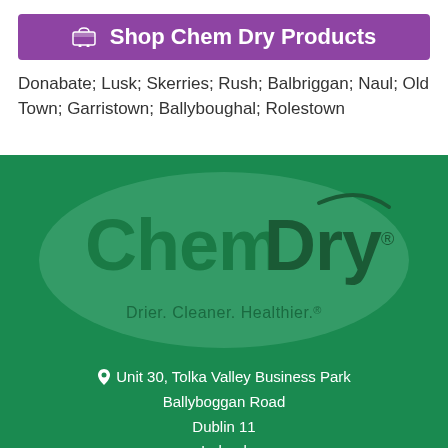Shop Chem Dry Products
Donabate; Lusk; Skerries; Rush; Balbriggan; Naul; Old Town; Garristown; Ballyboughal; Rolestown
[Figure (logo): ChemDry logo with oval background and tagline 'Drier. Cleaner. Healthier.']
Unit 30, Tolka Valley Business Park
Ballyboggan Road
Dublin 11
Ireland